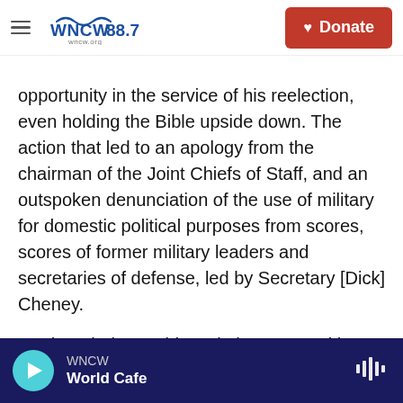WNCW 88.7 | Donate
opportunity in the service of his reelection, even holding the Bible upside down. The action that led to an apology from the chairman of the Joint Chiefs of Staff, and an outspoken denunciation of the use of military for domestic political purposes from scores, scores of former military leaders and secretaries of defense, led by Secretary [Dick] Cheney.

He thought he could stack the courts with friendly judges, who would support him no matter what. They were "Trump judges," his judges. He went so far as to say he needed nine justices on the
WNCW | World Cafe